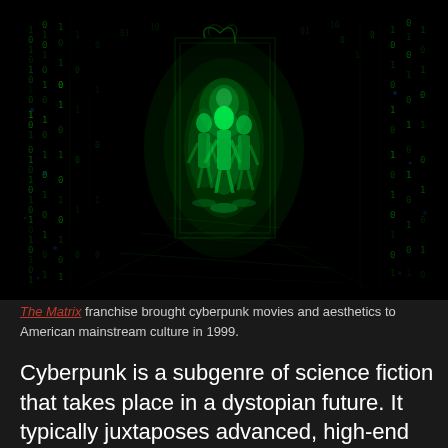[Figure (photo): A dark scene from The Matrix franchise showing glowing green human figures/silhouettes surrounded by cascading green digital rain code on a black background, creating a cyberpunk aesthetic.]
The Matrix franchise brought cyberpunk movies and aesthetics to American mainstream culture in 1999.
Cyberpunk is a subgenre of science fiction that takes place in a dystopian future. It typically juxtaposes advanced, high-end technology with the breakdown of social structure. This genre was created in the 1960s and 1970s, during the New Wave science fiction